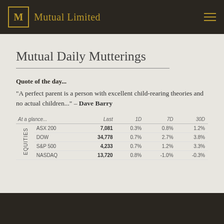M Mutual Limited
Mutual Daily Mutterings
Quote of the day...
“A perfect parent is a person with excellent child-rearing theories and no actual children...” – Dave Barry
| At a glance... | Last | 1D | 7D | 30D |
| --- | --- | --- | --- | --- |
| EQUITIES | ASX 200 | 7,081 | 0.3% | 0.8% | 1.2% |
| EQUITIES | DOW | 34,778 | 0.7% | 2.7% | 3.8% |
| EQUITIES | S&P 500 | 4,233 | 0.7% | 1.2% | 3.3% |
| EQUITIES | NASDAQ | 13,720 | 0.8% | -1.0% | -0.3% |